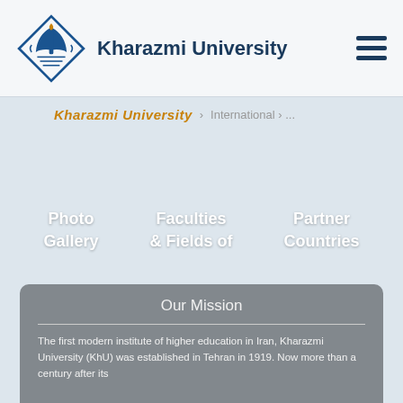Kharazmi University
Kharazmi University  ›  ...  ›  ...
Photo Gallery
Faculties & Fields of
Partner Countries
Our Mission
The first modern institute of higher education in Iran, Kharazmi University (KhU) was established in Tehran in 1919. Now more than a century after its